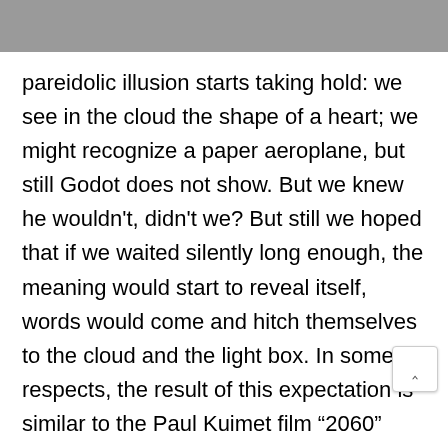pareidolic illusion starts taking hold: we see in the cloud the shape of a heart; we might recognize a paper aeroplane, but still Godot does not show. But we knew he wouldn't, didn't we? But still we hoped that if we waited silently long enough, the meaning would start to reveal itself, words would come and hitch themselves to the cloud and the light box. In some respects, the result of this expectation is similar to the Paul Kuimet film “2060” (2014), which in its perfection keeps the viewer going around on a Möbius strip without beginning or end. Both works, however, achieve something that in the current overproduction of news is more important than meaning: a meditative state of rest, a concentration of thought. If we're lucky, it's a rare moment when the mind is completely still and